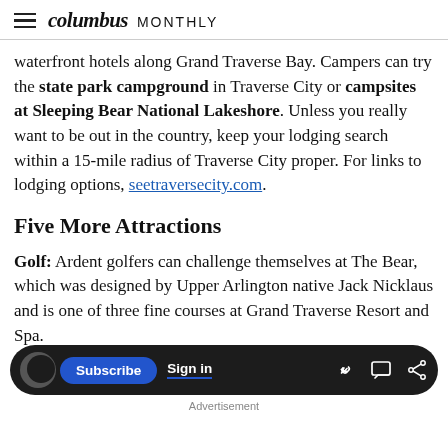columbus MONTHLY
waterfront hotels along Grand Traverse Bay. Campers can try the state park campground in Traverse City or campsites at Sleeping Bear National Lakeshore. Unless you really want to be out in the country, keep your lodging search within a 15-mile radius of Traverse City proper. For links to lodging options, seetraversecity.com.
Five More Attractions
Golf: Ardent golfers can challenge themselves at The Bear, which was designed by Upper Arlington native Jack Nicklaus and is one of three fine courses at Grand Traverse Resort and Spa.